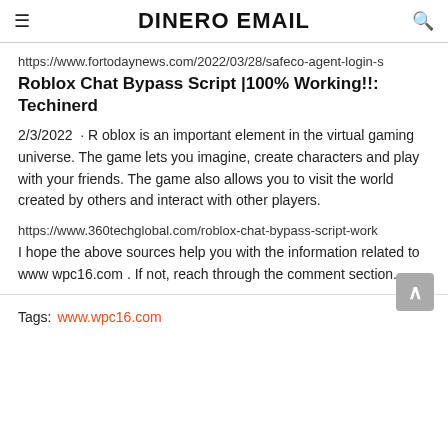DINERO EMAIL
https://www.fortodaynews.com/2022/03/28/safeco-agent-login-s
Roblox Chat Bypass Script |100% Working!!: Techinerd
2/3/2022  · R oblox is an important element in the virtual gaming universe. The game lets you imagine, create characters and play with your friends. The game also allows you to visit the world created by others and interact with other players.
https://www.360techglobal.com/roblox-chat-bypass-script-work
I hope the above sources help you with the information related to www wpc16.com . If not, reach through the comment section.
Tags:  www.wpc16.com